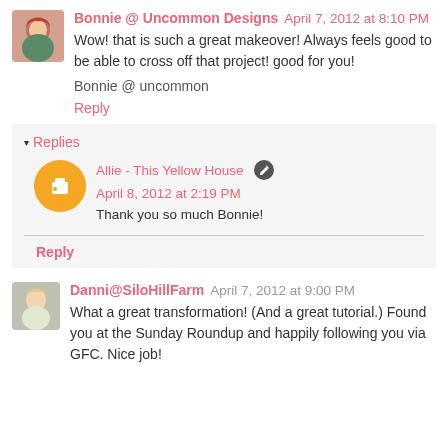Bonnie @ Uncommon Designs April 7, 2012 at 8:10 PM
Wow! that is such a great makeover! Always feels good to be able to cross off that project! good for you!
Bonnie @ uncommon
Reply
Replies
Allie - This Yellow House April 8, 2012 at 2:19 PM
Thank you so much Bonnie!
Reply
Danni@SiloHillFarm April 7, 2012 at 9:00 PM
What a great transformation! (And a great tutorial.) Found you at the Sunday Roundup and happily following you via GFC. Nice job!